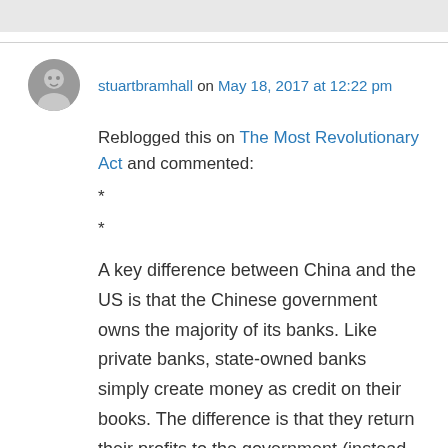stuartbramhall on May 18, 2017 at 12:22 pm
Reblogged this on The Most Revolutionary Act and commented:
*
*
A key difference between China and the US is that the Chinese government owns the majority of its banks. Like private banks, state-owned banks simply create money as credit on their books. The difference is that they return their profits to the government (instead of Wall Street), making the loans interest-free. The US government could do this too, without raising taxes, slashing services, cutting pensions, or